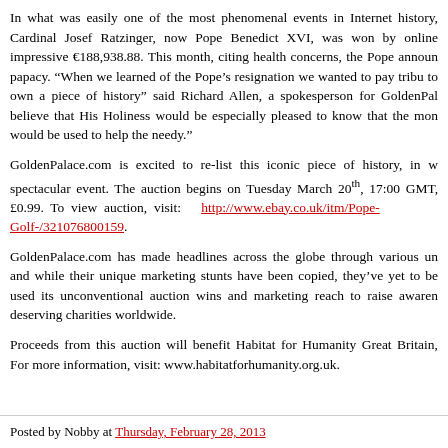In what was easily one of the most phenomenal events in Internet history, Cardinal Josef Ratzinger, now Pope Benedict XVI, was won by online impressive €188,938.88. This month, citing health concerns, the Pope announced his resignation from the papacy. "When we learned of the Pope's resignation we wanted to pay tribute to those who want to own a piece of history" said Richard Allen, a spokesperson for GoldenPalace.com. "We believe that His Holiness would be especially pleased to know that the money raised from the auction would be used to help the needy."
GoldenPalace.com is excited to re-list this iconic piece of history, in what promises to be a spectacular event. The auction begins on Tuesday March 20th, 17:00 GMT, with a starting price of £0.99. To view auction, visit: http://www.ebay.co.uk/itm/Pope-Golf-/321076800159.
GoldenPalace.com has made headlines across the globe through various unconventional means, and while their unique marketing stunts have been copied, they've yet to be topped. GoldenPalace.com used its unconventional auction wins and marketing reach to raise awareness and provide funds to deserving charities worldwide.
Proceeds from this auction will benefit Habitat for Humanity Great Britain, a leading housing charity. For more information, visit: www.habitatforhumanity.org.uk.
Posted by Nobby at Thursday, February 28, 2013